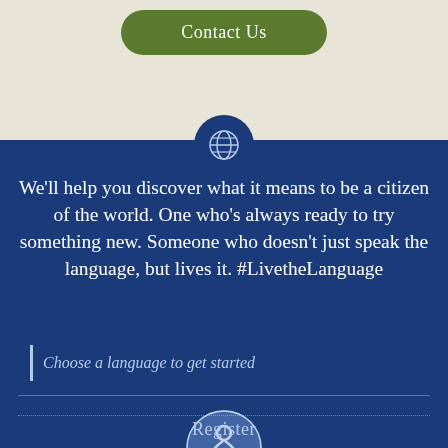Contact Us
We'll help you discover what it means to be a citizen of the world. One who's always ready to try something new. Someone who doesn't just speak the language, but lives it. #LivetheLanguage
Choose a language to get started
[Figure (logo): Circular language learning logo with stylized figure inside a globe on dark blue background]
Register